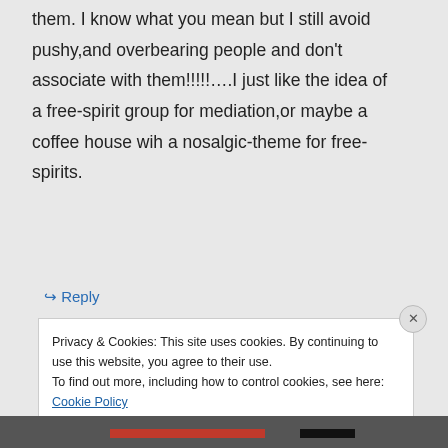them. I know what you mean but I still avoid pushy,and overbearing people and don't associate with them!!!!!….I just like the idea of a free-spirit group for mediation,or maybe a coffee house wih a nosalgic-theme for free-spirits.
↳ Reply
Privacy & Cookies: This site uses cookies. By continuing to use this website, you agree to their use.
To find out more, including how to control cookies, see here: Cookie Policy
Close and accept